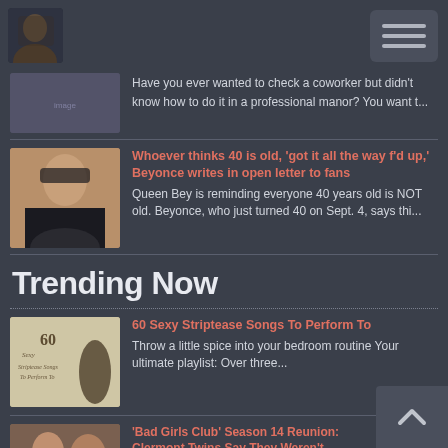Navigation header with avatar and menu button
Have you ever wanted to check a coworker but didn't know how to do it in a professional manor? You want t...
Whoever thinks 40 is old, 'got it all the way f'd up,' Beyonce writes in open letter to fans
Queen Bey is reminding everyone 40 years old is NOT old. Beyonce, who just turned 40 on Sept. 4, says thi...
Trending Now
60 Sexy Striptease Songs To Perform To
Throw a little spice into your bedroom routine Your ultimate playlist: Over three...
'Bad Girls Club' Season 14 Reunion: Clermont Twins Say They Weren't Allowed to Attend + Sneak Peek Part 2 Next Week!
Bad Girls Club season 14...